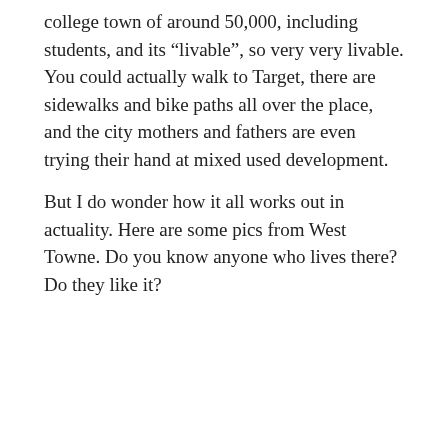college town of around 50,000, including students, and its “livable”, so very very livable. You could actually walk to Target, there are sidewalks and bike paths all over the place, and the city mothers and fathers are even trying their hand at mixed used development.
But I do wonder how it all works out in actuality. Here are some pics from West Towne. Do you know anyone who lives there? Do they like it?
[Figure (photo): Partial photograph showing a gray overcast sky and a small triangular reddish-brown rooftop or building corner visible at the bottom left.]